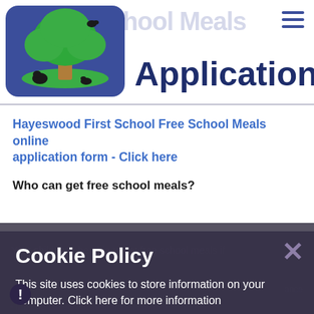[Figure (logo): Hayeswood First School logo: a green tree with brown trunk on blue/purple rounded square background, with silhouettes of animals]
Free School Meals Online Application
Application
Hayeswood First School Free School Meals online application form - Click here
Who can get free school meals?
Your child may be able to get free school meals if you get any of the following:
Cookie Policy
This site uses cookies to store information on your computer. Click here for more information
Allow Cookies  Deny Cookies